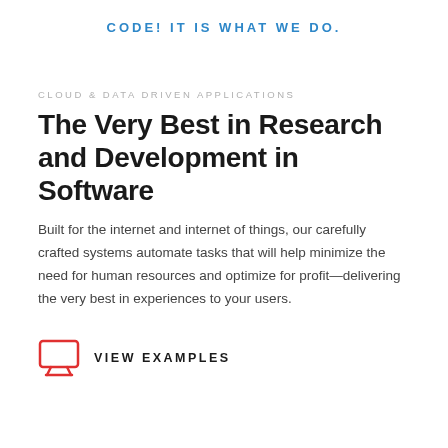CODE! IT IS WHAT WE DO.
CLOUD & DATA DRIVEN APPLICATIONS
The Very Best in Research and Development in Software
Built for the internet and internet of things, our carefully crafted systems automate tasks that will help minimize the need for human resources and optimize for profit—delivering the very best in experiences to your users.
VIEW EXAMPLES